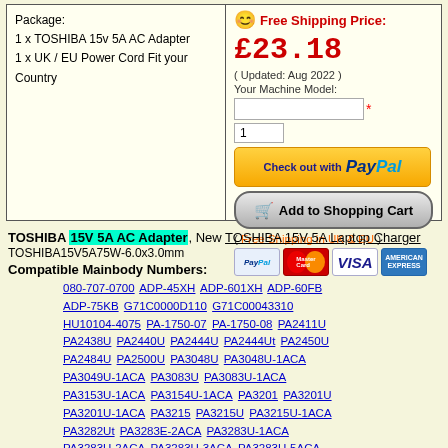Package:
1 x TOSHIBA 15v 5A AC Adapter
1 x UK / EU Power Cord Fit your Country
Free Shipping Price: £23.18
( Updated: Aug 2022 )
Your Machine Model:
[Figure (screenshot): PayPal checkout button]
[Figure (screenshot): Add to Shopping Cart button]
( Free Shipping in UK & EU )
[Figure (screenshot): Payment method icons: PayPal, MasterCard, VISA, American Express]
TOSHIBA 15V 5A AC Adapter, New TOSHIBA 15V 5A Laptop Charger
TOSHIBA15V5A75W-6.0x3.0mm
Compatible Mainbody Numbers:
080-707-0700  ADP-45XH  ADP-601XH  ADP-60FB  ADP-75KB  G71C0000D110  G71C00043310  HU10104-4075  PA-1750-07  PA-1750-08  PA2411U  PA2438U  PA2440U  PA2444U  PA2444Ut  PA2450U  PA2484U  PA2500U  PA3048U  PA3048U-1ACA  PA3049U-1ACA  PA3083U  PA3083U-1ACA  PA3153U-1ACA  PA3154U-1ACA  PA3201  PA3201U  PA3201U-1ACA  PA3215  PA3215U  PA3215U-1ACA  PA3282Ut  PA3283E-2ACA  PA3283U-1ACA  PA3283U-2ACA  PA3283U-3ACA  PA3283U-5ACA  PA3283U-SACA  PA3378E  PA3378E-1ACA  PA3378E-3AC3  PA3378U  PA3378U-1ACA  PA3469  PA3469E-1AC3